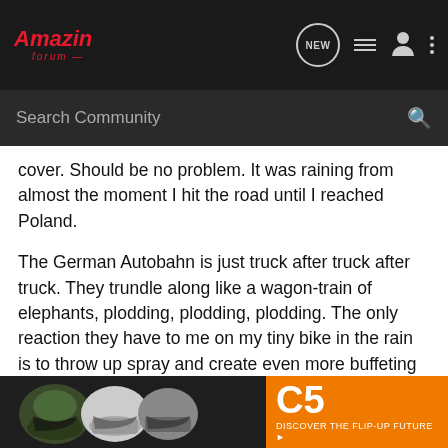Amazin Forum — Search Community header bar
cover. Should be no problem. It was raining from almost the moment I hit the road until I reached Poland.
The German Autobahn is just truck after truck after truck. They trundle along like a wagon-train of elephants, plodding, plodding, plodding. The only reaction they have to me on my tiny bike in the rain is to throw up spray and create even more buffeting than the regular wind is giving me. What is so disheartening is that you pass ten or twenty of these dammed elephants, and it feels a little like swatting flies, each one you pass is a success, each time I ride pass one safely I say 'yes, I am still alive', the spray, the buffeting, the blindness and the high pitched whine did not take me this time. Then eventually after an and you come ba o swat
[Figure (screenshot): Advertisement banner showing motorcycle helmets on the left and orange C5 helmet branding on the right with text 'DISCOVER THE FLIP-UP FUTURE']